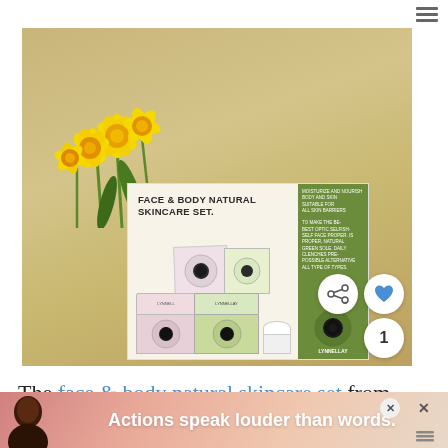[Figure (photo): Photo of a Face & Body Natural Skincare Set product box by Lynnell, placed on a beige/tan surface with yellow daffodil flowers in the upper left. The product box shows multiple cream/serum containers and has a green panel on the right side.]
The face & body natural skincare set from Ly[nnell]...
Actions speak louder than words.